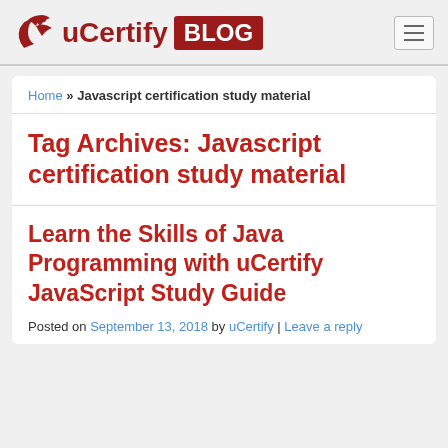uCertify BLOG
Home » Javascript certification study material
Tag Archives: Javascript certification study material
Learn the Skills of Java Programming with uCertify JavaScript Study Guide
Posted on September 13, 2018 by uCertify | Leave a reply